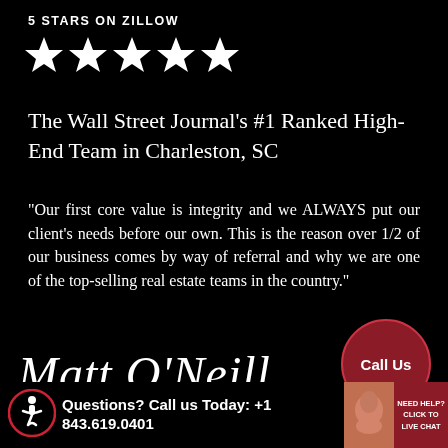5 STARS ON ZILLOW
[Figure (illustration): Five white star icons in a row representing 5-star rating]
The Wall Street Journal's #1 Ranked High-End Team in Charleston, SC
“Our first core value is integrity and we ALWAYS put our client's needs before our own. This is the reason over 1/2 of our business comes by way of referral and why we are one of the top-selling real estate teams in the country."
[Figure (other): Dark red circular button with white text 'Call Us' and a dark circular border]
Matt O’Neill
Questions? Call us Today: +1 843.619.0401
[Figure (other): Accessibility icon (wheelchair symbol in red circle) and live chat widget with avatar and 'NEED HELP? CLICK TO LIVE CHAT' text]